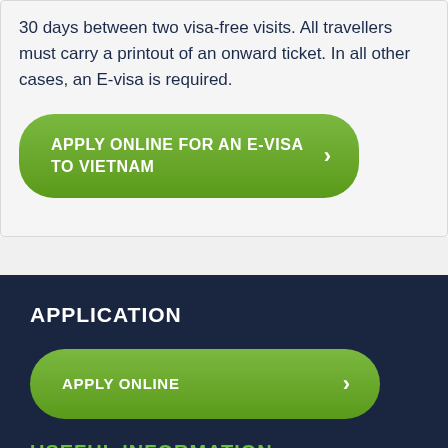30 days between two visa-free visits. All travellers must carry a printout of an onward ticket. In all other cases, an E-visa is required.
[Figure (other): Green rounded button labeled 'APPLY ONLINE FOR AN E-VISA TO VIETNAM' with a right arrow]
APPLICATION
[Figure (other): Green rounded button labeled 'APPLY ONLINE' with a right arrow]
USEFUL INFORMATION